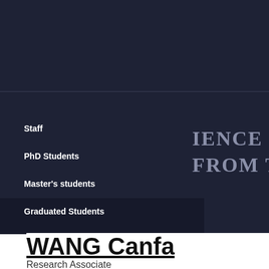Staff
PhD Students
Master's students
Graduated Students
IENCE IS TO DELVE SIM FROM THE COMPLEX N
WANG Canfa
Research Associate
State Key Laboratory of Biogeology and Environmental Geo